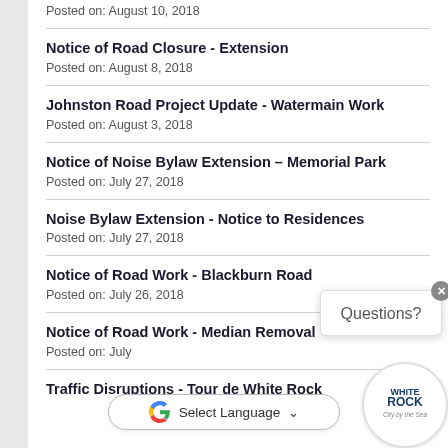Posted on: August 10, 2018
Notice of Road Closure - Extension
Posted on: August 8, 2018
Johnston Road Project Update - Watermain Work
Posted on: August 3, 2018
Notice of Noise Bylaw Extension – Memorial Park
Posted on: July 27, 2018
Noise Bylaw Extension - Notice to Residences
Posted on: July 27, 2018
Notice of Road Work - Blackburn Road
Posted on: July 26, 2018
Notice of Road Work - Median Removal
Posted on: July [date]
Traffic Disruptions - Tour de White Rock